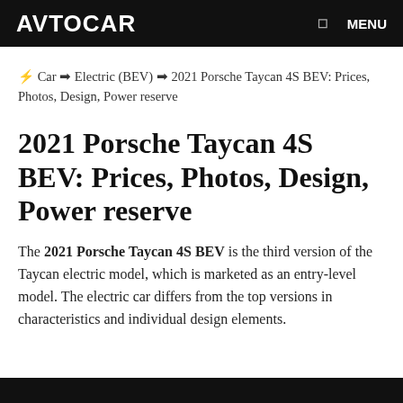AVTOCAR  ☰  MENU
⚡ Car ➡ Electric (BEV) ➡ 2021 Porsche Taycan 4S BEV: Prices, Photos, Design, Power reserve
2021 Porsche Taycan 4S BEV: Prices, Photos, Design, Power reserve
The 2021 Porsche Taycan 4S BEV is the third version of the Taycan electric model, which is marketed as an entry-level model. The electric car differs from the top versions in characteristics and individual design elements.